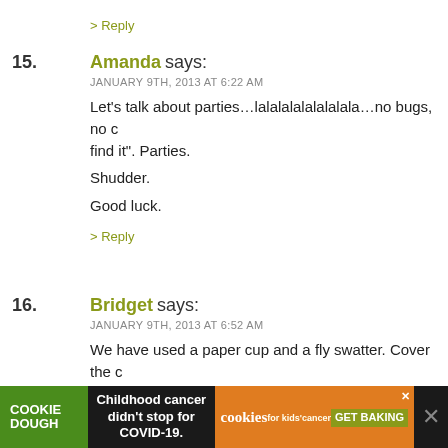> Reply
15. Amanda says:
JANUARY 9TH, 2013 AT 6:22 AM

Let's talk about parties...lalalalalalalalala...no bugs, no c... find it". Parties.

Shudder.

Good luck.

> Reply
16. Bridget says:
JANUARY 9TH, 2013 AT 6:52 AM

We have used a paper cup and a fly swatter. Cover the c... cup and slide the fly swatter under it and remove the cr... outdoors. I will kill everything else, but for some reason... guys. Maybe the Disney connection.

> Reply
[Figure (infographic): Advertisement banner for Cookie Dough / Cookies for Kids Cancer - 'Childhood cancer didn't stop for COVID-19. GET BAKING']